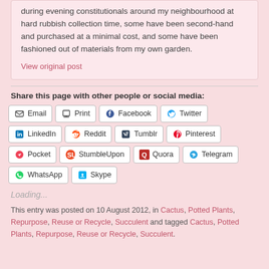during evening constitutionals around my neighbourhood at hard rubbish collection time, some have been second-hand and purchased at a minimal cost, and some have been fashioned out of materials from my own garden.
View original post
Share this page with other people or social media:
Email  Print  Facebook  Twitter  LinkedIn  Reddit  Tumblr  Pinterest  Pocket  StumbleUpon  Quora  Telegram  WhatsApp  Skype
Loading...
This entry was posted on 10 August 2012, in Cactus, Potted Plants, Repurpose, Reuse or Recycle, Succulent and tagged Cactus, Potted Plants, Repurpose, Reuse or Recycle, Succulent.